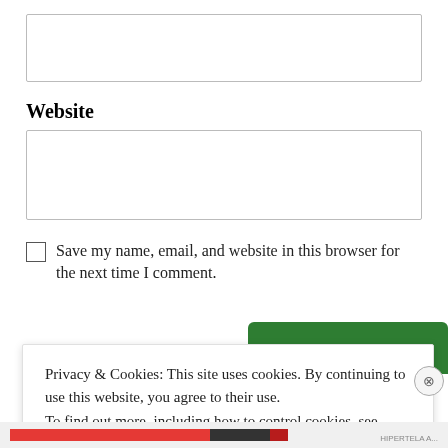[empty input box]
Website
[empty website input box]
Save my name, email, and website in this browser for the next time I comment.
Privacy & Cookies: This site uses cookies. By continuing to use this website, you agree to their use. To find out more, including how to control cookies, see here: Cookie Policy
Close and accept